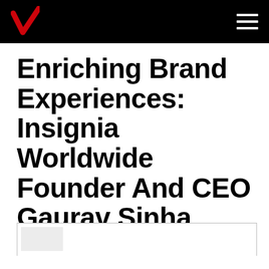Verizon navigation bar with logo and hamburger menu
Enriching Brand Experiences: Insignia Worldwide Founder And CEO Gaurav Sinha
[Figure (other): Partial image thumbnail visible at the bottom with a thin border box]